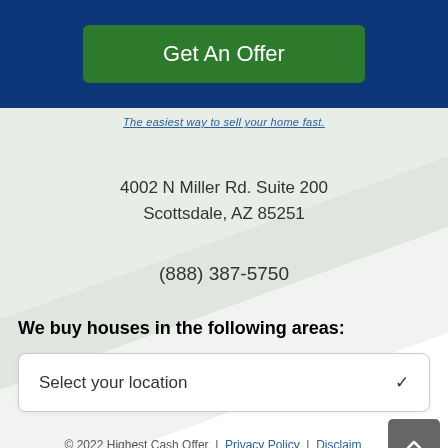[Figure (screenshot): Green 'Get An Offer' button on dark blue background]
The easiest way to sell your home fast.
4002 N Miller Rd. Suite 200
Scottsdale, AZ 85251
(888) 387-5750
We buy houses in the following areas:
Select your location
© 2022 Highest Cash Offer | Privacy Policy | Disclaimer
[Figure (illustration): Social media icons: Facebook, Twitter, YouTube, LinkedIn]